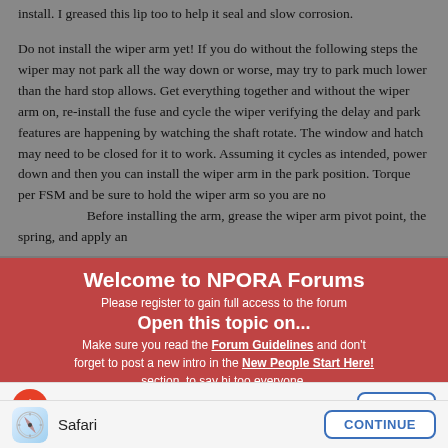install. I greased this lip too to help it seal and slow corrosion.
Do not install the wiper arm yet! If you do without the following steps the wiper may not park all the way down or worse, may try to park much lower than the hard stop allows. Get everything together and without the wiper arm on, re-install the fuse and cycle the wiper verifying the delay and park features are happening by watching the shaft rotate. The window and hatch may need to be closed for it to work. Assuming it cycles as intended, power down and then you can install the wiper arm in the park position. Torque per FSM and be sure to hold the wiper arm so you are not... Before installing the arm, grease the wiper arm pivot point, the spring, and apply an...
Welcome to NPORA Forums
Please register to gain full access to the forum
Open this topic on...
Make sure you read the Forum Guidelines and don't forget to post a new intro in the New People Start Here! section, to say hi too everyone.
-NPORA
Tapatalk App
Safari